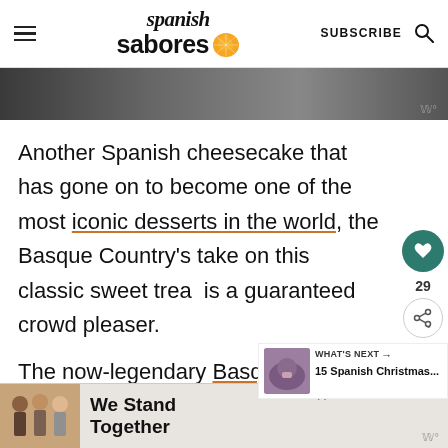Spanish Sabores | SUBSCRIBE
[Figure (photo): Partial image of people's legs/lower bodies in jeans]
Another Spanish cheesecake that has gone on to become one of the most iconic desserts in the world, the Basque Country's take on this classic sweet treat is a guaranteed crowd pleaser.
The now-legendary Basque cheesecake was invented almost by accident as S...
[Figure (photo): WHAT'S NEXT — 15 Spanish Christmas... thumbnail widget]
[Figure (photo): We Stand Together advertisement banner at bottom]